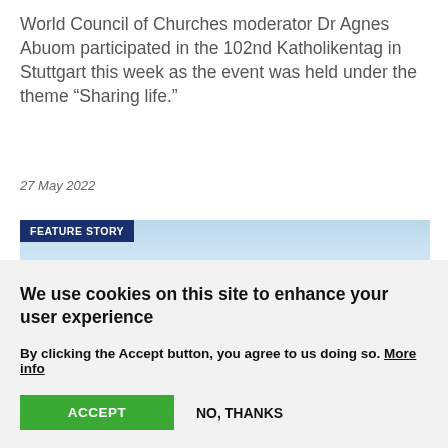World Council of Churches moderator Dr Agnes Abuom participated in the 102nd Katholikentag in Stuttgart this week as the event was held under the theme “Sharing life.”
27 May 2022
[Figure (photo): Aerial landscape photo of Stuttgart with green fields and urban area visible under a hazy blue sky, with a 'FEATURE STORY' badge overlaid at the top left.]
We use cookies on this site to enhance your user experience
By clicking the Accept button, you agree to us doing so. More info
ACCEPT
NO, THANKS